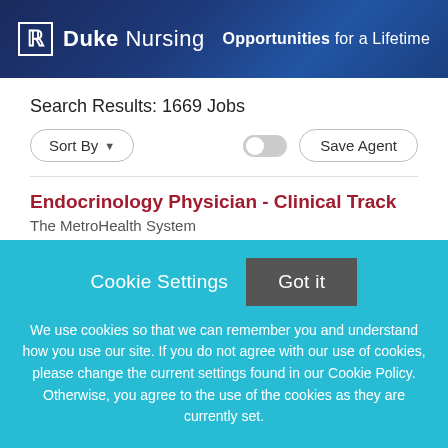[Figure (logo): Duke Nursing header banner with logo and tagline 'Opportunities for a Lifetime']
Search Results: 1669 Jobs
Sort By ▼
Save Agent
Endocrinology Physician - Clinical Track
The MetroHealth System
Cookie Settings
Got it
We use cookies so that we can remember you and understand how you use our site. If you do not agree with our use of cookies, please change the current settings found in our Cookie Policy. Otherwise, you agree to the use of the cookies as they are currently set.